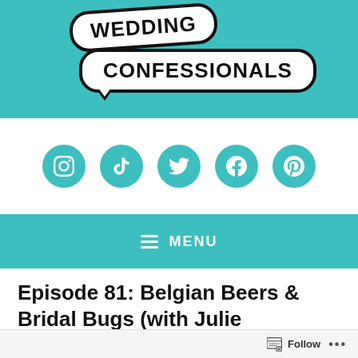[Figure (logo): Wedding Confessionals podcast logo — two white speech bubbles with black bold text 'WEDDING' and 'CONFESSIONALS' on a teal background]
[Figure (infographic): Row of five teal circular social media icons: Instagram, TikTok, Twitter, Facebook, Pinterest]
≡ MENU
Episode 81: Belgian Beers & Bridal Bugs (with Julie Fishman)
Follow  •••